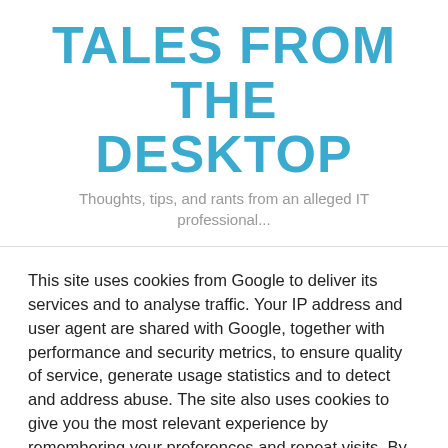TALES FROM THE DESKTOP
Thoughts, tips, and rants from an alleged IT professional...
This site uses cookies from Google to deliver its services and to analyse traffic. Your IP address and user agent are shared with Google, together with performance and security metrics, to ensure quality of service, generate usage statistics and to detect and address abuse. The site also uses cookies to give you the most relevant experience by remembering your preferences and repeat visits. By clicking “Accept”, you consent to the use of ALL the cookies.
Cookie settings  ACCEPT